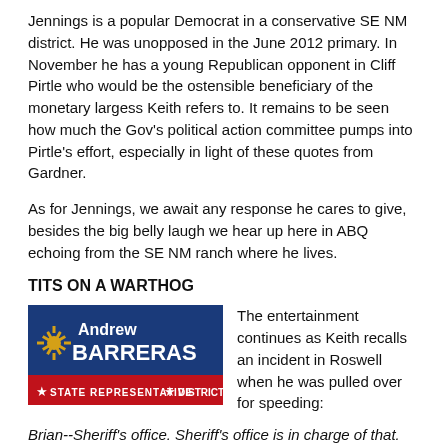Jennings is a popular Democrat in a conservative SE NM district. He was unopposed in the June 2012 primary. In November he has a young Republican opponent in Cliff Pirtle who would be the ostensible beneficiary of the monetary largess Keith refers to. It remains to be seen how much the Gov's political action committee pumps into Pirtle's effort, especially in light of these quotes from Gardner.
As for Jennings, we await any response he cares to give, besides the big belly laugh we hear up here in ABQ echoing from the SE NM ranch where he lives.
TITS ON A WARTHOG
[Figure (logo): Andrew Barreras State Representative District 7 campaign logo — blue background with gold and white text, New Mexico zia symbol]
The entertainment continues as Keith recalls an incident in Roswell when he was pulled over for speeding:
Brian--Sheriff's office. Sheriff's office is in charge of that. Britt Snyder. You know Brett. Son of a bitch. You know Britt is in Reserve. I've